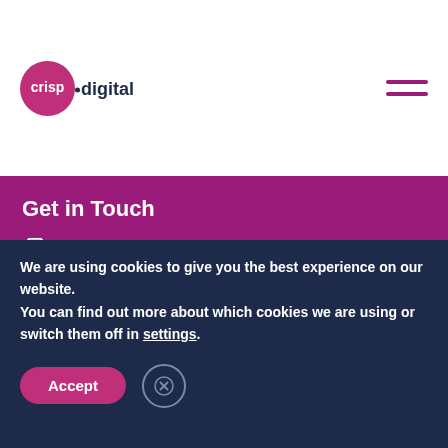crisp.digital logo and hamburger menu
Get in Touch
0203 514 9005
0800 014 8678
info@crisp.digital
55 High Street
We are using cookies to give you the best experience on our website. You can find out more about which cookies we are using or switch them off in settings.
Accept